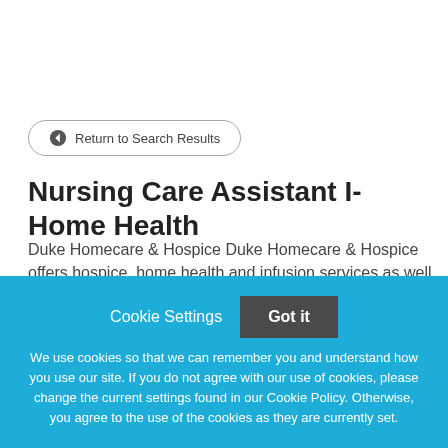Return to Search Results
Nursing Care Assistant I-Home Health
Duke Homecare & Hospice Duke Homecare & Hospice offers hospice, home health and infusion services as well
Cookie Settings  Got it
We use cookies so that we can remember you and understand how you use our site. If you do not agree with our use of cookies, please change the current settings found in our Cookie Policy. Otherwise, you agree to the use of the cookies as they are currently set.